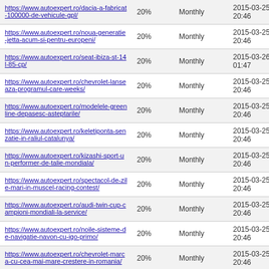| https://www.autoexpert.ro/dacia-a-fabricat-100000-de-vehicule-gpl/ | 20% | Monthly | 2015-03-25 20:46 |
| https://www.autoexpert.ro/noua-generatie-jetta-acum-si-pentru-europeni/ | 20% | Monthly | 2015-03-25 20:46 |
| https://www.autoexpert.ro/seat-ibiza-st-14l-85-cp/ | 20% | Monthly | 2015-03-26 01:47 |
| https://www.autoexpert.ro/chevrolet-lanseaza-programul-care-weeks/ | 20% | Monthly | 2015-03-25 20:46 |
| https://www.autoexpert.ro/modelele-greenline-depasesc-asteptarile/ | 20% | Monthly | 2015-03-25 20:46 |
| https://www.autoexpert.ro/keletiponta-senzatie-in-raliul-catalunya/ | 20% | Monthly | 2015-03-25 20:46 |
| https://www.autoexpert.ro/kizashi-sport-un-performer-de-talie-mondiala/ | 20% | Monthly | 2015-03-25 20:46 |
| https://www.autoexpert.ro/spectacol-de-zile-mari-in-muscel-racing-contest/ | 20% | Monthly | 2015-03-25 20:46 |
| https://www.autoexpert.ro/audi-twin-cup-campioni-mondiali-la-service/ | 20% | Monthly | 2015-03-25 20:46 |
| https://www.autoexpert.ro/noile-sisteme-de-navigatie-navon-cu-igo-primo/ | 20% | Monthly | 2015-03-25 20:46 |
| https://www.autoexpert.ro/chevrolet-marca-cu-cea-mai-mare-crestere-in-romania/ | 20% | Monthly | 2015-03-25 20:46 |
| https://www.autoexpert.ro/subaru-outback-25i-167-cp/ | 20% | Monthly | 2015-03-26 01:47 |